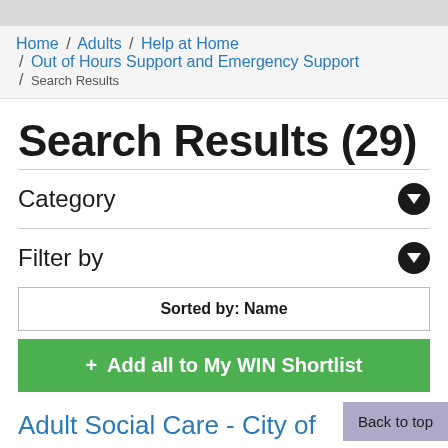Home / Adults / Help at Home / Out of Hours Support and Emergency Support / Search Results
Search Results (29)
Category
Filter by
Sorted by: Name
+ Add all to My WIN Shortlist
Adult Social Care - City of